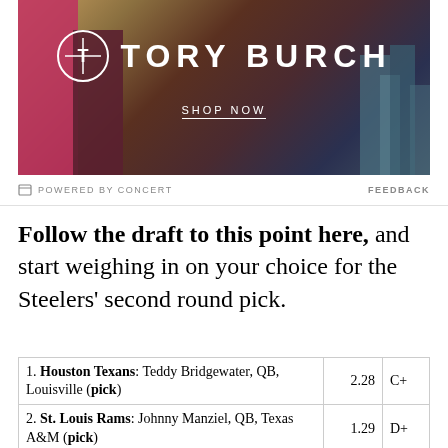[Figure (photo): Tory Burch advertisement showing fashion model against city skyline background with Tory Burch logo and SHOP NOW call to action]
POWERED BY CONCERT   FEEDBACK
Follow the draft to this point here, and start weighing in on your choice for the Steelers' second round pick.
| Pick | Score | Grade |
| --- | --- | --- |
| 1. Houston Texans: Teddy Bridgewater, QB, Louisville (pick) | 2.28 | C+ |
| 2. St. Louis Rams: Johnny Manziel, QB, Texas A&M (pick) | 1.29 | D+ |
| 3. Jacksonville Jaguars: Jadeveon Clowney, DE, South Carolina (pick) | 3.76 | A- |
| 4. Cleveland Browns: Greg Robinson, OT, Auburn |  |  |